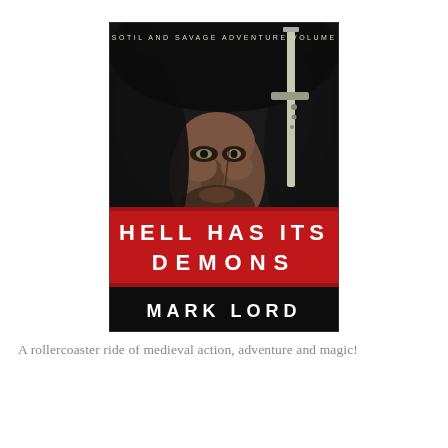[Figure (illustration): Book cover for 'Hell Has Its Demons' by Mark Lord. Subtitle: 'A Sotil and Savage Adventure Volume 1'. Dark background with a hooded man's face and a sword. Red banner across middle with white text 'HELL HAS ITS DEMONS'. Author name 'MARK LORD' at bottom.]
A rollercoaster ride of medieval action, adventure and magic!